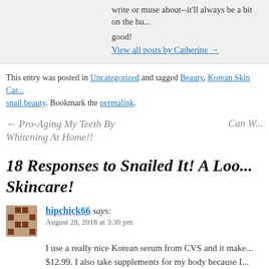write or muse about--it'll always be a bit on the hu... good!
View all posts by Catherine →
This entry was posted in Uncategorized and tagged Beauty, Korean Skin Car... snail beauty. Bookmark the permalink.
← Pro-Aging My Teeth By Whitening At Home!!
Can W...
18 Responses to Snailed It! A Loo... Skincare!
hipchick66 says:
August 28, 2018 at 3:30 pm
I use a really nice Korean serum from CVS and it make... $12.99. I also take supplements for my body because I...